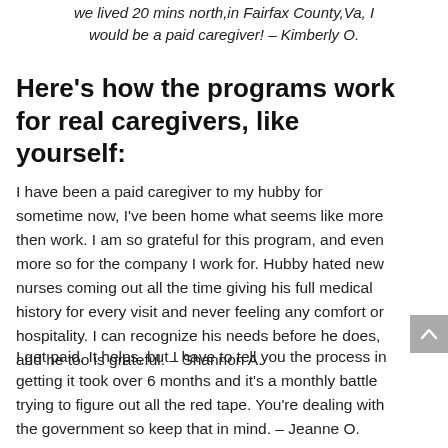we lived 20 mins north,in Fairfax County,Va, I would be a paid caregiver! – Kimberly O.
Here's how the programs work for real caregivers, like yourself:
I have been a paid caregiver to my hubby for sometime now, I've been home what seems like more then work. I am so grateful for this program, and even more so for the company I work for. Hubby hated new nurses coming out all the time giving his full medical history for every visit and never feeling any comfort or hospitality. I can recognize his needs before he does, and he too is grateful. – Shannon A.
I get paid. It helps, but I have to tell you the process in getting it took over 6 months and it's a monthly battle trying to figure out all the red tape. You're dealing with the government so keep that in mind. – Jeanne O.